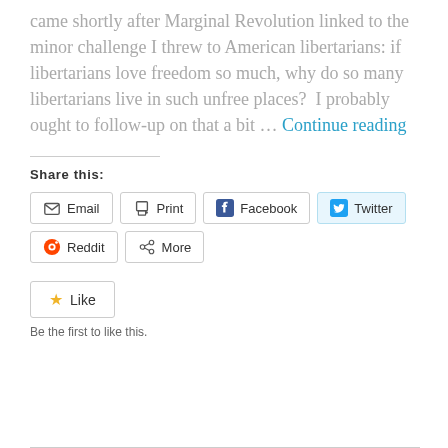came shortly after Marginal Revolution linked to the minor challenge I threw to American libertarians: if libertarians love freedom so much, why do so many libertarians live in such unfree places?  I probably ought to follow-up on that a bit … Continue reading
Share this:
[Figure (infographic): Share buttons: Email, Print, Facebook, Twitter, Reddit, More]
[Figure (infographic): Like button with star icon]
Be the first to like this.